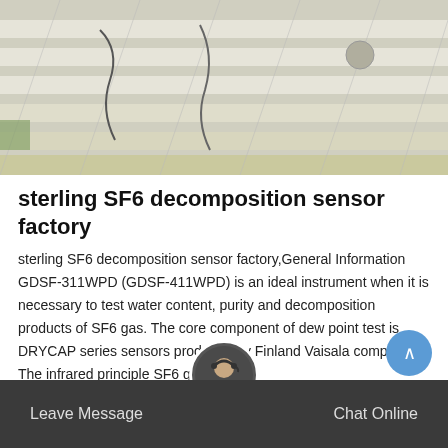[Figure (photo): Aerial or ground-level photo of white industrial or structural panels/slabs with cables]
sterling SF6 decomposition sensor factory
sterling SF6 decomposition sensor factory,General Information GDSF-311WPD (GDSF-411WPD) is an ideal instrument when it is necessary to test water content, purity and decomposition products of SF6 gas. The core component of dew point test is DRYCAP series sensors produced by Finland Vaisala company. The infrared principle SF6 gas pur...
Get Price
[Figure (photo): Bottom section: dark background with customer service agent avatar and Leave Message / Chat Online navigation bar]